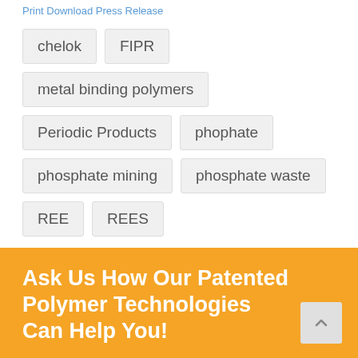Print Download Press Release
chelok
FIPR
metal binding polymers
Periodic Products
phophate
phosphate mining
phosphate waste
REE
REES
Ask Us How Our Patented Polymer Technologies Can Help You!